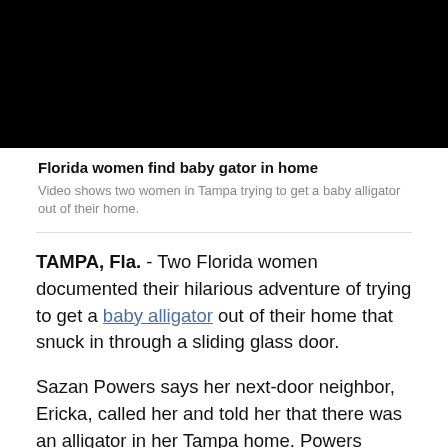[Figure (photo): Black video thumbnail/placeholder image]
Florida women find baby gator in home
Video shows two women in Tampa trying to get a baby alligator out of their home.
TAMPA, Fla. - Two Florida women documented their hilarious adventure of trying to get a baby alligator out of their home that snuck in through a sliding glass door.
Sazan Powers says her next-door neighbor, Ericka, called her and told her that there was an alligator in her Tampa home. Powers immediately went over and discovered a baby gator.